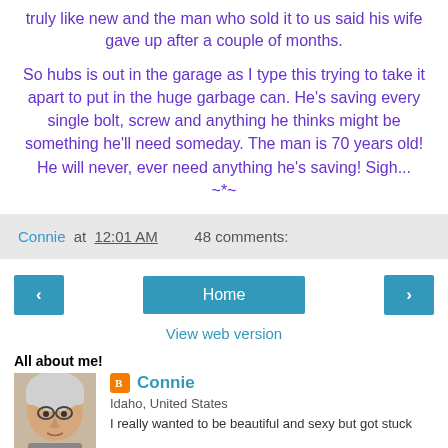truly like new and the man who sold it to us said his wife gave up after a couple of months.
So hubs is out in the garage as I type this trying to take it apart to put in the huge garbage can. He's saving every single bolt, screw and anything he thinks might be something he'll need someday. The man is 70 years old! He will never, ever need anything he's saving! Sigh...
~*~
Connie at 12:01 AM   48 comments:
Home
View web version
All about me!
Connie
Idaho, United States
I really wanted to be beautiful and sexy but got stuck